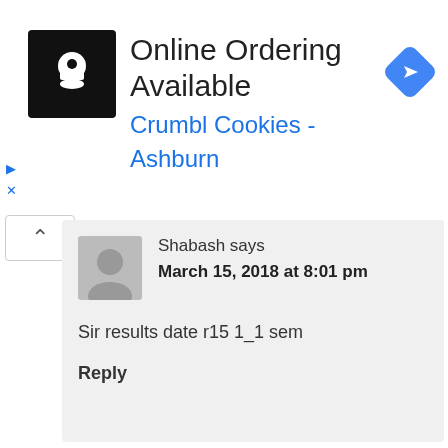[Figure (screenshot): Advertisement banner for Crumbl Cookies - Ashburn with online ordering available. Shows a black square logo with a chef/cookie icon, title text, blue subtitle, and a blue diamond navigation icon.]
Shabash says
March 15, 2018 at 8:01 pm
Sir results date r15 1_1 sem
Reply
Abdul says
March 19, 2018 at 10:38 am
Jntua always fake dates. where is 1st week, 2nd